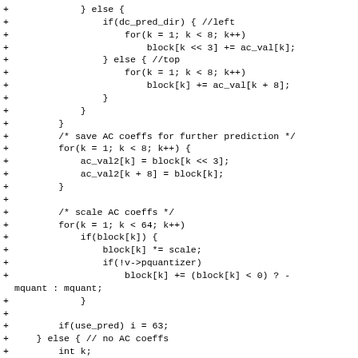Code diff showing AC coefficient prediction and scaling logic in C
+             } else {
+                 if(dc_pred_dir) { //left
+                     for(k = 1; k < 8; k++)
+                         block[k << 3] += ac_val[k];
+                 } else { //top
+                     for(k = 1; k < 8; k++)
+                         block[k] += ac_val[k + 8];
+                 }
+             }
+         }
+         /* save AC coeffs for further prediction */
+         for(k = 1; k < 8; k++) {
+             ac_val2[k] = block[k << 3];
+             ac_val2[k + 8] = block[k];
+         }
+
+         /* scale AC coeffs */
+         for(k = 1; k < 64; k++)
+             if(block[k]) {
+                 block[k] *= scale;
+                 if(!v->pquantizer)
+                     block[k] += (block[k] < 0) ? -mquant : mquant;
+             }
+
+         if(use_pred) i = 63;
+     } else { // no AC coeffs
+         int k;
+
+         memset(ac_val2, 0, 16 * 2);